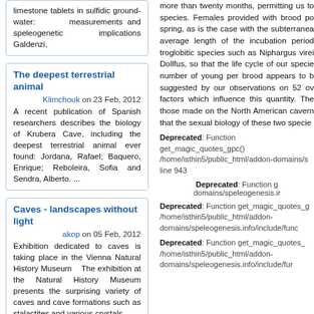limestone tablets in sulfidic groundwater: measurements and speleogenetic implications Galdenzi,
The deepest terrestrial animal
Klimchouk on 23 Feb, 2012
A recent publication of Spanish researchers describes the biology of Krubera Cave, including the deepest terrestrial animal ever found: Jordana, Rafael; Baquero, Enrique; Reboleira, Sofia and Sendra, Alberto. ...
Caves - landscapes without light
akop on 05 Feb, 2012
Exhibition dedicated to caves is taking place in the Vienna Natural History Museum    The exhibition at the Natural History Museum presents the surprising variety of caves and cave formations such as stalactites and various crystals. ...
Did you know?
That oolite is a type of limestone that is composed largely or partly of ooliths. also known as oolitic limestone. the best known examples in britain, within the jurassic limestone sequence of the cotswolds, are of only moderate strength, very porous
more than twenty months, permitting us to species. Females provided with brood po spring, as is the case with the subterranea average length of the incubation period troglobitic species such as Niphargus virei Dollfus, so that the life cycle of our specie number of young per brood appears to b suggested by our observations on 52 ov factors which influence this quantity. The those made on the North American cavern that the sexual biology of these two specie
Deprecated: Function get_magic_quotes_gpc() /home/isthin5/public_html/addon-domains/s line 943
Deprecated: Function g
domains/speleogenesis.ir
Deprecated: Function get_magic_quotes_g /home/isthin5/public_html/addon-domains/speleogenesis.info/include/func
Deprecated: Function get_magic_quotes_ /home/isthin5/public_html/addon-domains/speleogenesis.info/include/fur